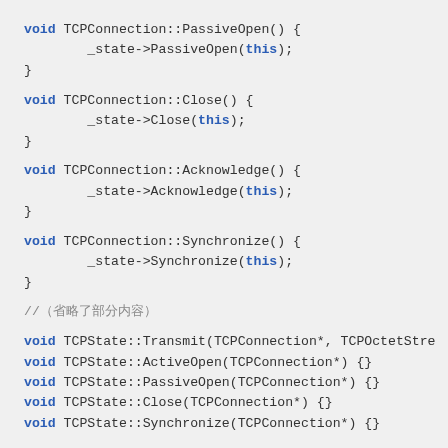void TCPConnection::PassiveOpen() {
        _state->PassiveOpen(this);
}
void TCPConnection::Close() {
        _state->Close(this);
}
void TCPConnection::Acknowledge() {
        _state->Acknowledge(this);
}
void TCPConnection::Synchronize() {
        _state->Synchronize(this);
}
//（省略了部分内容）
void TCPState::Transmit(TCPConnection*, TCPOctetStre
void TCPState::ActiveOpen(TCPConnection*) {}
void TCPState::PassiveOpen(TCPConnection*) {}
void TCPState::Close(TCPConnection*) {}
void TCPState::Synchronize(TCPConnection*) {}